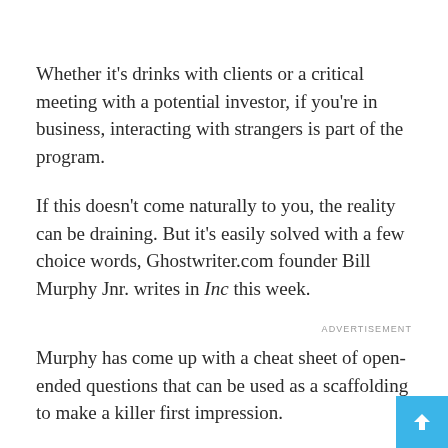Whether it’s drinks with clients or a critical meeting with a potential investor, if you’re in business, interacting with strangers is part of the program.
If this doesn’t come naturally to you, the reality can be draining. But it’s easily solved with a few choice words, Ghostwriter.com founder Bill Murphy Jnr. writes in Inc this week.
ADVERTISEMENT
Murphy has come up with a cheat sheet of open-ended questions that can be used as a scaffolding to make a killer first impression.
There’s nothing elaborate here: he starts with “Hello” and “I’m happy to see you”. But Murphy says these basic icebreakers have helped his own confidence immensely, a